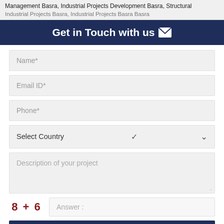Management Basra, Industrial Projects Development Basra, Structural Industrial Projects Basra, Industrial Projects Basra Basra...
Get in Touch with us ✉
Name*
Email ID*
Phone*
Select Country
Description of your project
8 + 6   Answer :
SUBMIT